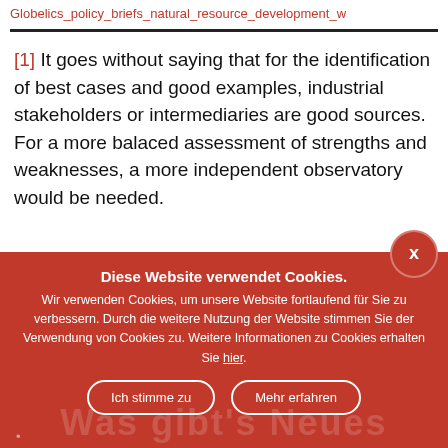Globelics_policy_briefs_natural_resource_development_w
[1] It goes without saying that for the identification of best cases and good examples, industrial stakeholders or intermediaries are good sources. For a more balaced assessment of strengths and weaknesses, a more independent observatory would be needed.
Diese Website verwendet Cookies. Wir verwenden Cookies, um unsere Website fortlaufend für Sie zu verbessern. Durch die weitere Nutzung der Website stimmen Sie der Verwendung von Cookies zu. Weitere Informationen zu Cookies erhalten Sie hier.
Ich stimme zu
Mehr erfahren